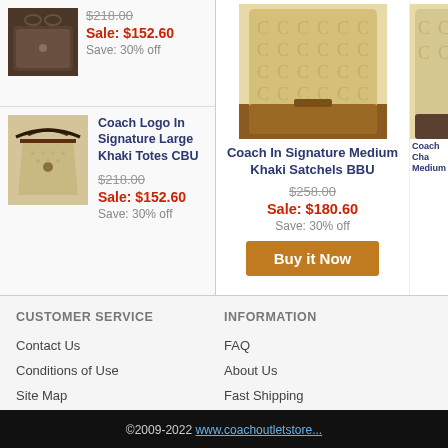[Figure (photo): Coach bag thumbnail - dark brown signature pattern]
$218.00 (strikethrough)
Sale: $152.60
Save: 30% off
[Figure (photo): Coach Logo In Signature Large Khaki Totes CBU bag thumbnail]
Coach Logo In Signature Large Khaki Totes CBU
$218.00 (strikethrough)
Sale: $152.60
Save: 30% off
[Figure (photo): Coach In Signature Medium Khaki Satchels BBU bag - khaki/bronze]
Coach In Signature Medium Khaki Satchels BBU
$258.00 (strikethrough)
Sale: $180.60
Save: 30% off
Buy it Now
[Figure (photo): Coach Cha Medium bag - partially visible on right edge]
CUSTOMER SERVICE
Contact Us
Conditions of Use
Site Map
Payments
INFORMATION
FAQ
About Us
Fast Shipping
Privacy Policy
©2009-2022 www.coachoutletstore...